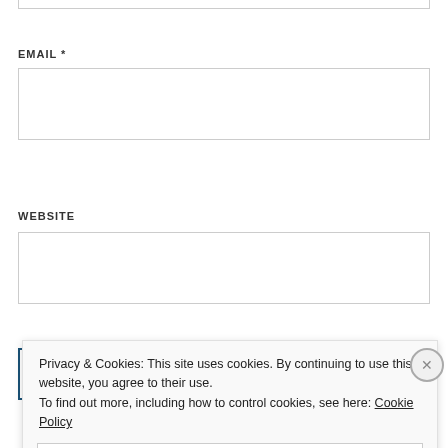EMAIL *
[Figure (screenshot): Empty email input text box]
WEBSITE
[Figure (screenshot): Empty website input text box]
Post Comment
Privacy & Cookies: This site uses cookies. By continuing to use this website, you agree to their use.
To find out more, including how to control cookies, see here: Cookie Policy
Close and accept